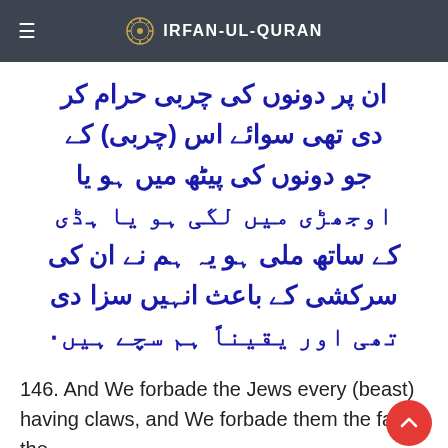IRFAN-UL-QURAN
ان پر دونوں کی چربی حرام کر دی تھی سوائے اس (چربی) کے جو دونوں کی پیٹھ میں ہو یا اوجھڑی میں لگی ہو یا ہڈی کے ساتھ ملی ہو یہ ہم نے ان کی سرکشی کے باعث انہیں سزا دی تھی اور یقیناً ہم سچے ہیں۰
146. And We forbade the Jews every (beast) having claws, and We forbade them the fat of the